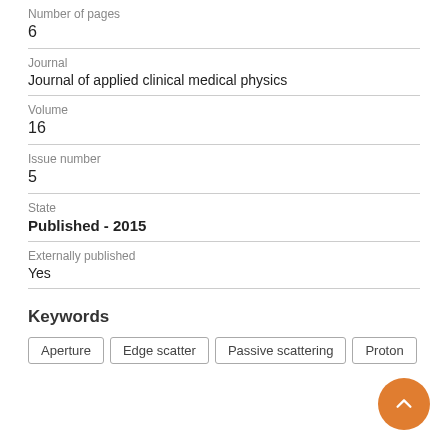Number of pages
6
Journal
Journal of applied clinical medical physics
Volume
16
Issue number
5
State
Published - 2015
Externally published
Yes
Keywords
Aperture
Edge scatter
Passive scattering
Proton